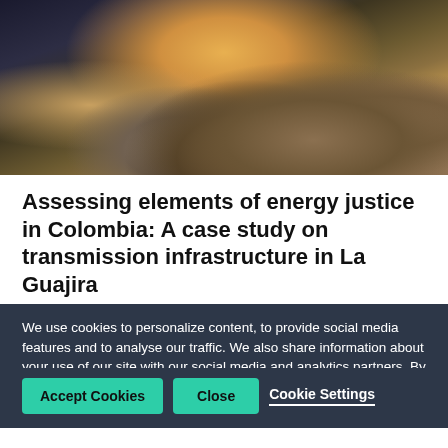[Figure (photo): Coastal rocky shoreline at sunset/dusk with orange and golden light reflecting on water and rocks]
Assessing elements of energy justice in Colombia: A case study on transmission infrastructure in La Guajira
We use cookies to personalize content, to provide social media features and to analyse our traffic. We also share information about your use of our site with our social media and analytics partners. By clicking the close button, you do not accept cookies for this website. Some functions of this website may not work without cookies.- Read our cookie notice
Accept Cookies  Close  Cookie Settings